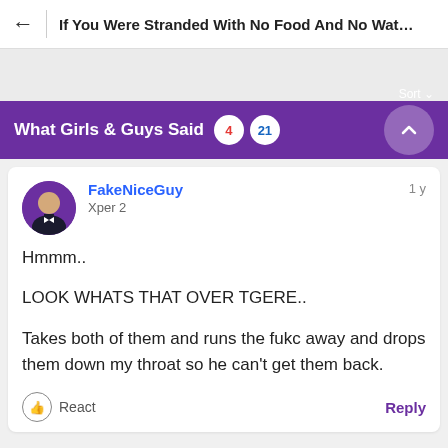If You Were Stranded With No Food And No Water Woul...
What Girls & Guys Said  4  21
FakeNiceGuy
Xper 2
1 y

Hmmm..

LOOK WHATS THAT OVER TGERE..

Takes both of them and runs the fukc away and drops them down my throat so he can't get them back.